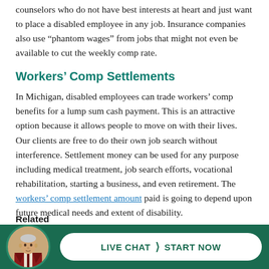counselors who do not have best interests at heart and just want to place a disabled employee in any job. Insurance companies also use “phantom wages” from jobs that might not even be available to cut the weekly comp rate.
Workers’ Comp Settlements
In Michigan, disabled employees can trade workers’ comp benefits for a lump sum cash payment. This is an attractive option because it allows people to move on with their lives. Our clients are free to do their own job search without interference. Settlement money can be used for any purpose including medical treatment, job search efforts, vocational rehabilitation, starting a business, and even retirement. The workers’ comp settlement amount paid is going to depend upon future medical needs and extent of disability.
Michigan Workers Comp Lawyers never charges a fee to evaluate a potential case. Our law firm has represented hurt and disabled workers exclusively for more than 35 years. Call (844) 316-8033 for a free consultation today.
Related
[Figure (illustration): Live Chat button with attorney avatar photo and teal background. Button reads LIVE CHAT > START NOW in bold green text on white pill-shaped button.]